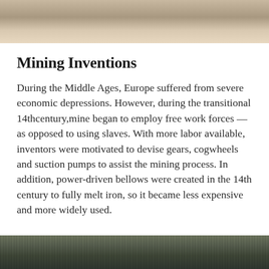[Figure (photo): Top portion of a photo, appears to show stone or rock surface with sandy ground]
Mining Inventions
During the Middle Ages, Europe suffered from severe economic depressions. However, during the transitional 14thcentury,mine began to employ free work forces — as opposed to using slaves. With more labor available, inventors were motivated to devise gears, cogwheels and suction pumps to assist the mining process. In addition, power-driven bellows were created in the 14th century to fully melt iron, so it became less expensive and more widely used.
[Figure (photo): Bottom portion of a photo showing what appears to be stone pavement or cobblestones with some vegetation]